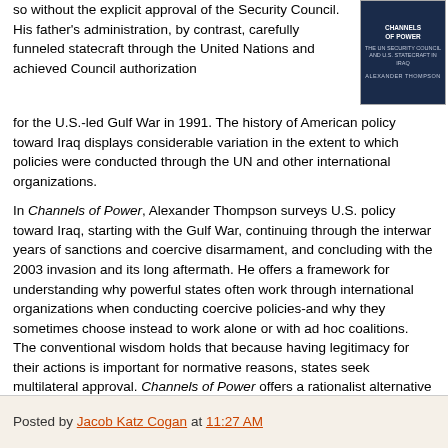so without the explicit approval of the Security Council. His father's administration, by contrast, carefully funneled statecraft through the United Nations and achieved Council authorization for the U.S.-led Gulf War in 1991. The history of American policy toward Iraq displays considerable variation in the extent to which policies were conducted through the UN and other international organizations.
[Figure (illustration): Book cover of 'Channels of Power: The UN Security Council and U.S. Statecraft in Iraq' by Alexander Thompson. Dark navy blue cover with white and light blue text.]
In Channels of Power, Alexander Thompson surveys U.S. policy toward Iraq, starting with the Gulf War, continuing through the interwar years of sanctions and coercive disarmament, and concluding with the 2003 invasion and its long aftermath. He offers a framework for understanding why powerful states often work through international organizations when conducting coercive policies-and why they sometimes choose instead to work alone or with ad hoc coalitions. The conventional wisdom holds that because having legitimacy for their actions is important for normative reasons, states seek multilateral approval. Channels of Power offers a rationalist alternative to these standard legitimation arguments, one based on the notion of strategic information transmission: When state actions are endorsed by an independent organization, this sends politically crucial information to the world community, both leaders and their publics, and results in greater international support.
Posted by Jacob Katz Cogan at 11:27 AM